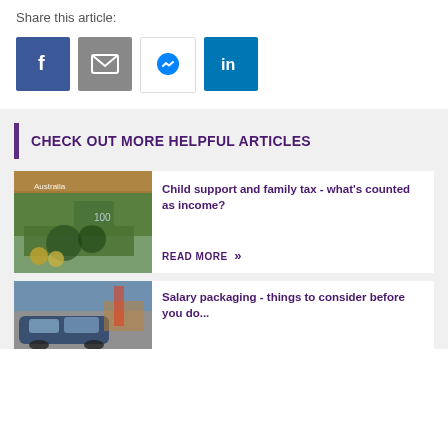Share this article:
[Figure (infographic): Four social media share buttons: Facebook (blue), Email (grey), Messenger (white/blue), LinkedIn (blue)]
CHECK OUT MORE HELPFUL ARTICLES
[Figure (photo): Australian currency notes and coins with a calculator on a wooden surface]
Child support and family tax - what's counted as income?
READ MORE »
[Figure (photo): Blue car in a parking area with blurred background]
Salary packaging - things to consider before you do...